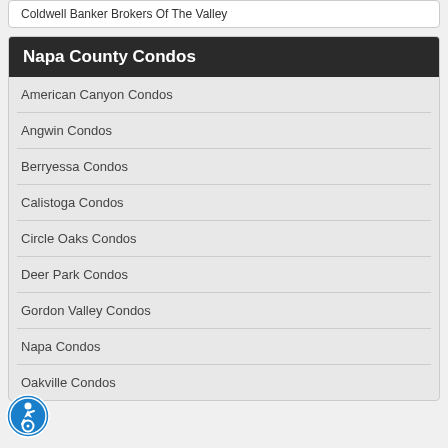Coldwell Banker Brokers Of The Valley
Napa County Condos
American Canyon Condos
Angwin Condos
Berryessa Condos
Calistoga Condos
Circle Oaks Condos
Deer Park Condos
Gordon Valley Condos
Napa Condos
Oakville Condos